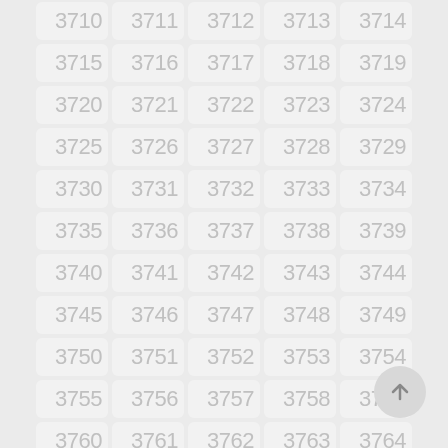[Figure (other): Grid of numbered cells from 3710 to 3764 arranged in a 5-column layout, with a scroll-to-top button in the bottom right corner. Each cell shows a number in light gray on a light background with rounded corners.]